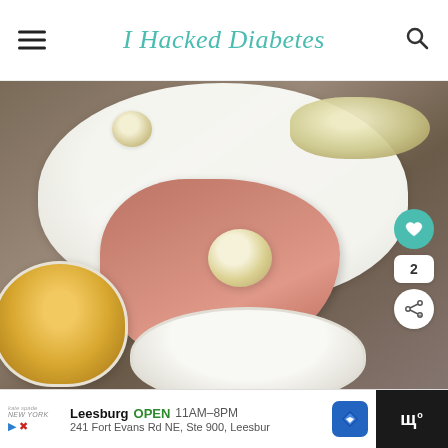I Hacked Diabetes
[Figure (photo): A hand holding a breaded cauliflower ball over a white plate with more breaded balls. A bowl of golden breadcrumbs is on the left. Another white bowl is partially visible at the bottom.]
Leesburg OPEN 11AM–8PM 241 Fort Evans Rd NE, Ste 900, Leesbur